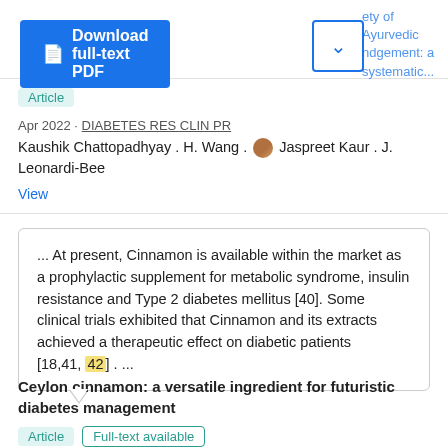[Figure (screenshot): Download full-text PDF button (blue) and dropdown button]
ety of Ayurvedic ndgement: a systematic...
Article
Apr 2022 · DIABETES RES CLIN PR
Kaushik Chattopadhyay . H. Wang . [avatar] Jaspreet Kaur . J. Leonardi-Bee
View
... At present, Cinnamon is available within the market as a prophylactic supplement for metabolic syndrome, insulin resistance and Type 2 diabetes mellitus [40]. Some clinical trials exhibited that Cinnamon and its extracts achieved a therapeutic effect on diabetic patients [18,41, 42] . ...
Ceylon cinnamon: a versatile ingredient for futuristic diabetes management
Article  Full-text available
Jun 2022